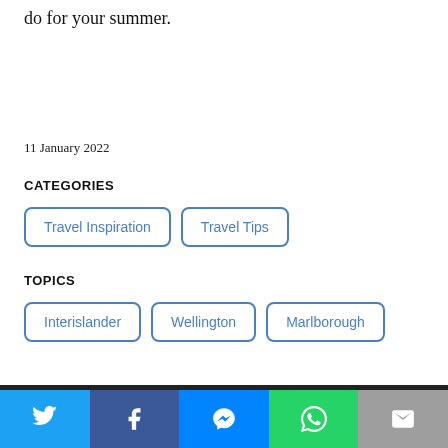do for your summer.
11 January 2022
CATEGORIES
Travel Inspiration
Travel Tips
TOPICS
Interislander
Wellington
Marlborough
Social share bar: Twitter, Facebook, Messenger, WhatsApp, Email